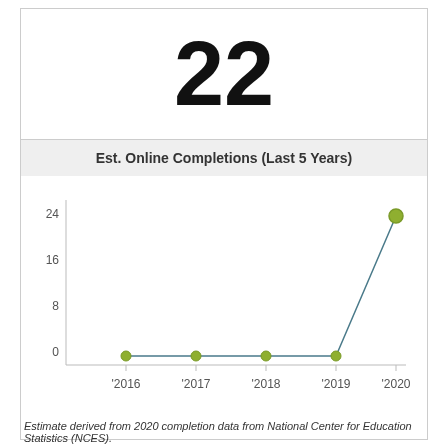22
[Figure (line-chart): Est. Online Completions (Last 5 Years)]
Estimate derived from 2020 completion data from National Center for Education Statistics (NCES).